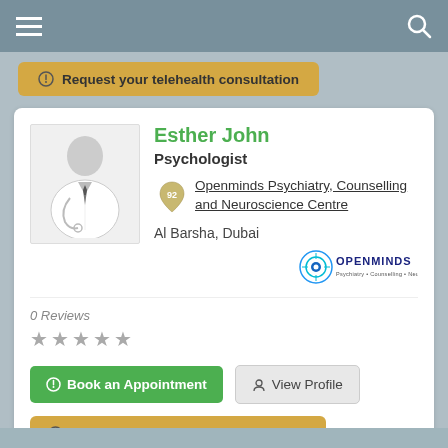Navigation bar with hamburger menu and search icon
⊙ Request your telehealth consultation
Esther John
Psychologist
Openminds Psychiatry, Counselling and Neuroscience Centre
Al Barsha, Dubai
[Figure (logo): Openminds logo with circular eye icon and OPENMINDS text]
0 Reviews
★★★★★
⊙ Book an Appointment
👤 View Profile
⊙ Request your telehealth consultation